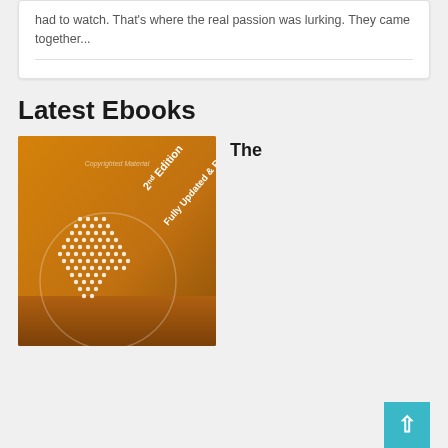had to watch. That's where the real passion was lurking. They came together...
Latest Ebooks
[Figure (illustration): Book cover with orange gradient background showing a white dotted globe/earth illustration. Text on the cover reads 'Copyrighted Material', '2nd Edition', 'Fully Updated & Revised' in white diagonal text.]
The